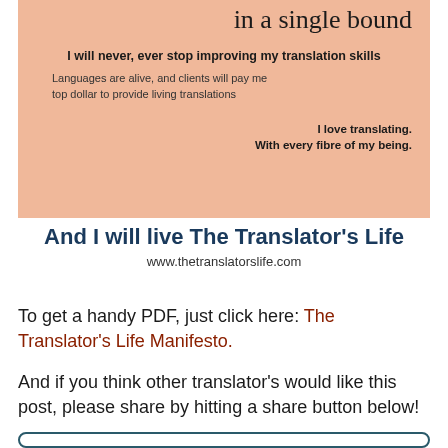in a single bound
I will never, ever stop improving my translation skills
Languages are alive, and clients will pay me top dollar to provide living translations
I love translating.
With every fibre of my being.
And I will live The Translator's Life
www.thetranslatorslife.com
To get a handy PDF, just click here: The Translator's Life Manifesto.
And if you think other translator's would like this post, please share by hitting a share button below!
[Figure (other): Rounded rectangle share button box outline at bottom]